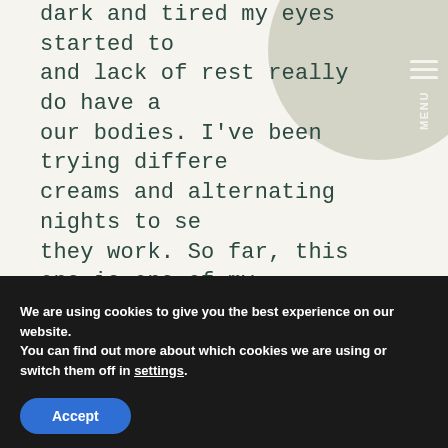dark and tired my eyes started to get dark and lack of rest really do have an effect on our bodies. I've been trying different creams and alternating nights to see if they work. So far, this one is one of my favorites.
We are using cookies to give you the best experience on our website.
You can find out more about which cookies we are using or switch them off in settings.
Accept